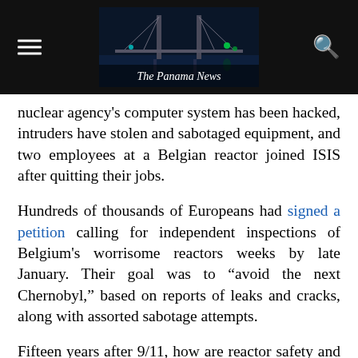The Panama News
nuclear agency’s computer system has been hacked, intruders have stolen and sabotaged equipment, and two employees at a Belgian reactor joined ISIS after quitting their jobs.
Hundreds of thousands of Europeans had signed a petition calling for independent inspections of Belgium’s worrisome reactors weeks by late January. Their goal was to “avoid the next Chernobyl,” based on reports of leaks and cracks, along with assorted sabotage attempts.
Fifteen years after 9/11, how are reactor safety and security on our side of the pond? Not so hot, as seven engineers employed by the Nuclear Regulatory Commission recently made clear.